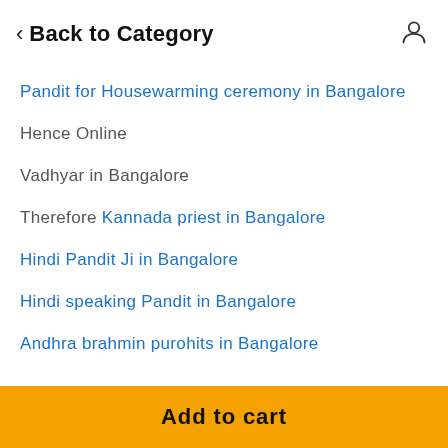Back to Category
Pandit for Housewarming ceremony in Bangalore
Hence Online
Vadhyar in Bangalore
Therefore Kannada priest in Bangalore
Hindi Pandit Ji in Bangalore
Hindi speaking Pandit in Bangalore
Andhra brahmin purohits in Bangalore
Add to cart